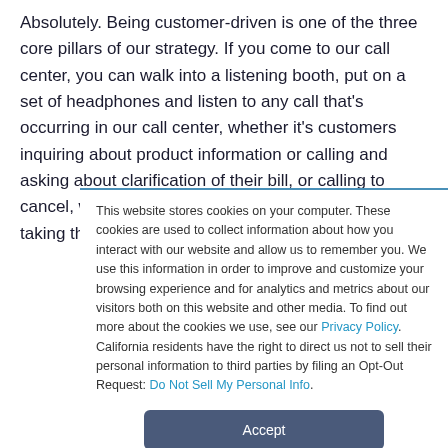Absolutely. Being customer-driven is one of the three core pillars of our strategy. If you come to our call center, you can walk into a listening booth, put on a set of headphones and listen to any call that's occurring in our call center, whether it's customers inquiring about product information or calling and asking about clarification of their bill, or calling to cancel, without impeding or intruding upon the agents taking the calls.
This website stores cookies on your computer. These cookies are used to collect information about how you interact with our website and allow us to remember you. We use this information in order to improve and customize your browsing experience and for analytics and metrics about our visitors both on this website and other media. To find out more about the cookies we use, see our Privacy Policy. California residents have the right to direct us not to sell their personal information to third parties by filing an Opt-Out Request: Do Not Sell My Personal Info.
Accept